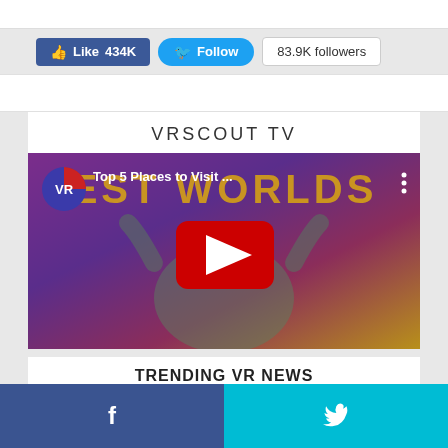[Figure (screenshot): Social media buttons: Facebook Like 434K, Twitter Follow, 83.9K followers]
VRSCOUT TV
[Figure (screenshot): YouTube video thumbnail: VR Top 5 Places to Visit... with red play button, person with raised hands, BEST WORLDS text]
TRENDING VR NEWS
Metal Gear Solid In VR Looks Like A
Facebook and Twitter share buttons